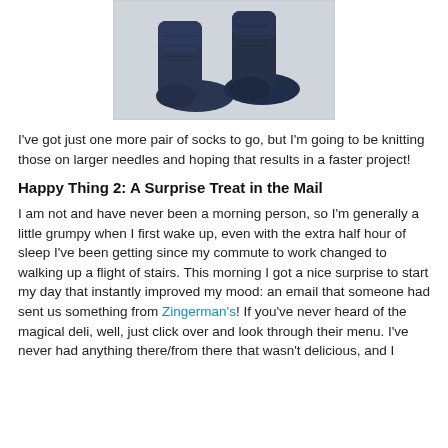[Figure (photo): A pair of navy blue knitted socks laid flat on a light grey/white surface.]
I've got just one more pair of socks to go, but I'm going to be knitting those on larger needles and hoping that results in a faster project!
Happy Thing 2: A Surprise Treat in the Mail
I am not and have never been a morning person, so I'm generally a little grumpy when I first wake up, even with the extra half hour of sleep I've been getting since my commute to work changed to walking up a flight of stairs. This morning I got a nice surprise to start my day that instantly improved my mood: an email that someone had sent us something from Zingerman's! If you've never heard of the magical deli, well, just click over and look through their menu. I've never had anything there/from there that wasn't delicious, and I